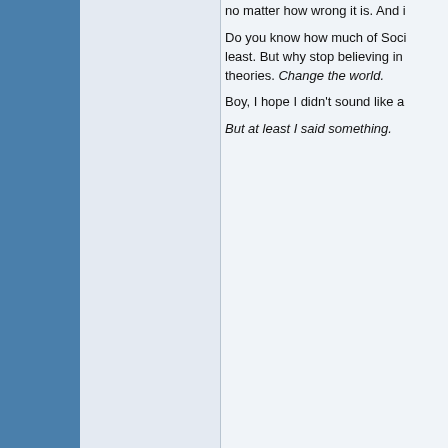no matter how wrong it is. And i

Do you know how much of Soci least. But why stop believing in theories. Change the world.

Boy, I hope I didn't sound like a

But at least I said something.
Binary or dichotomous syste principle, are among the mos ever been invented. -- William Geography and Classification
03-06-2005, 11:43 PM
Jimbean
Join Date:   Dec 2004
Location:    Florida
Knowledge is objective while co communicating, a person will in